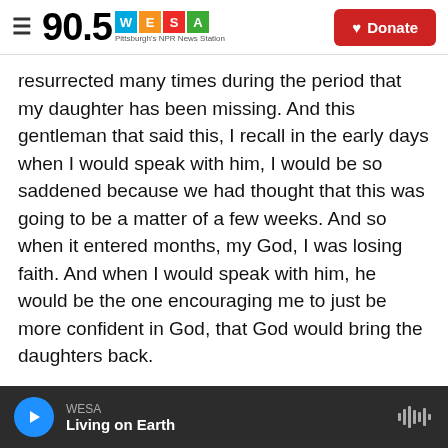90.5 WESA — Pittsburgh's NPR News Station | Donate
resurrected many times during the period that my daughter has been missing. And this gentleman that said this, I recall in the early days when I would speak with him, I would be so saddened because we had thought that this was going to be a matter of a few weeks. And so when it entered months, my God, I was losing faith. And when I would speak with him, he would be the one encouraging me to just be more confident in God, that God would bring the daughters back.
CORNISH: You said in the past that for you, the Chibok girls are a symbol of how we, as Nigerians,
WESA — Living on Earth